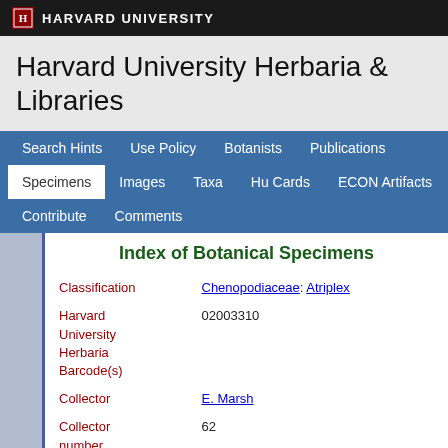HARVARD UNIVERSITY
Harvard University Herbaria & Libraries
Search Hints  Use Policy  Botanists  Publications  Specimens  Images  Taxa  Hu Cards  ECON Artifacts  Contribute  Comments
Index of Botanical Specimens
| Field | Value |
| --- | --- |
| Classification | Chenopodiaceae: Atriplex |
| Harvard University Herbaria Barcode(s) | 02003310 |
| Collector | E. Marsh |
| Collector number | 62 |
| Country | United States of America |
| State | Texas |